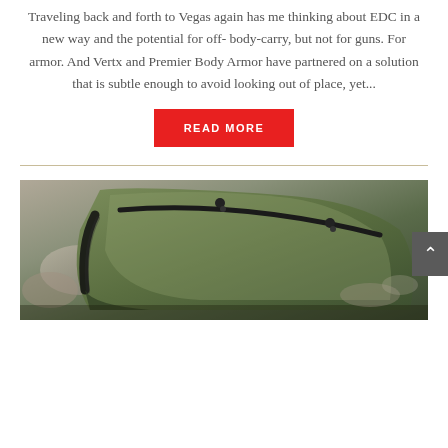Traveling back and forth to Vegas again has me thinking about EDC in a new way and the potential for off- body-carry, but not for guns. For armor. And Vertx and Premier Body Armor have partnered on a solution that is subtle enough to avoid looking out of place, yet...
[Figure (other): A red READ MORE button/link]
[Figure (photo): Close-up photo of a green/olive tactical bag or backpack with black zipper pulls, outdoors on rocky ground]